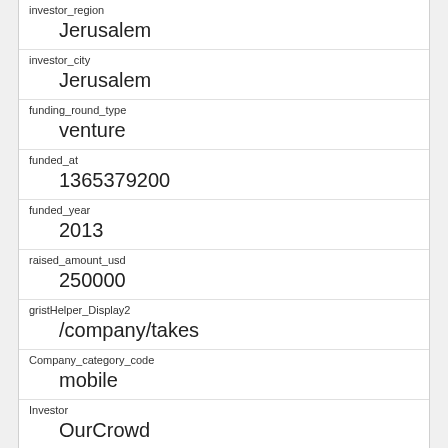investor_region
Jerusalem
investor_city
Jerusalem
funding_round_type
venture
funded_at
1365379200
funded_year
2013
raised_amount_usd
250000
gristHelper_Display2
/company/takes
Company_category_code
mobile
Investor
OurCrowd https://www.crunchbase.com/financial-organization/ourcrowd
id